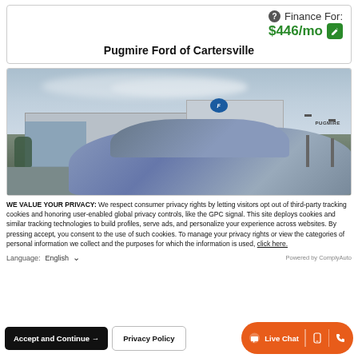Finance For: $446/mo
Pugmire Ford of Cartersville
[Figure (photo): Exterior photo of Pugmire Ford of Cartersville dealership building with a blue car in foreground and Ford logo sign visible]
WE VALUE YOUR PRIVACY: We respect consumer privacy rights by letting visitors opt out of third-party tracking cookies and honoring user-enabled global privacy controls, like the GPC signal. This site deploys cookies and similar tracking technologies to build profiles, serve ads, and personalize your experience across websites. By pressing accept, you consent to the use of such cookies. To manage your privacy rights or view the categories of personal information we collect and the purposes for which the information is used, click here.
Language: English
Powered by ComplyAuto
Accept and Continue →
Privacy Policy
Live Chat